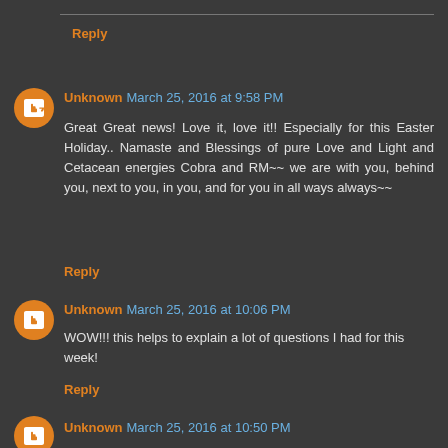Reply
Unknown March 25, 2016 at 9:58 PM
Great Great news! Love it, love it!! Especially for this Easter Holiday.. Namaste and Blessings of pure Love and Light and Cetacean energies Cobra and RM~~ we are with you, behind you, next to you, in you, and for you in all ways always~~
Reply
Unknown March 25, 2016 at 10:06 PM
WOW!!! this helps to explain a lot of questions I had for this week!
Reply
Unknown March 25, 2016 at 10:50 PM